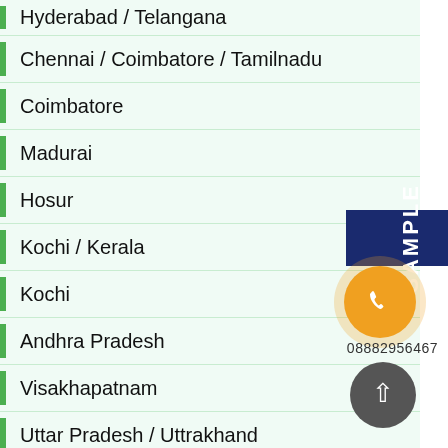Hyderabad / Telangana
Chennai / Coimbatore / Tamilnadu
Coimbatore
Madurai
Hosur
Kochi / Kerala
Kochi
Andhra Pradesh
Visakhapatnam
Uttar Pradesh / Uttrakhand
Ghaziabad / Meerut
Kanpur / Lucknow